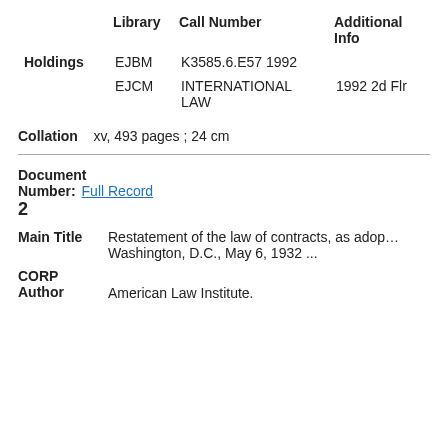|  | Library | Call Number | Additional Info |
| --- | --- | --- | --- |
| Holdings | EJBM | K3585.6.E57 1992 |  |
|  | EJCM | INTERNATIONAL LAW | 1992 2d Flr |
Collation   xv, 493 pages ; 24 cm
Document Number: 2   Full Record
Main Title   Restatement of the law of contracts, as adopted in Washington, D.C., May 6, 1932 ...
CORP Author   American Law Institute.